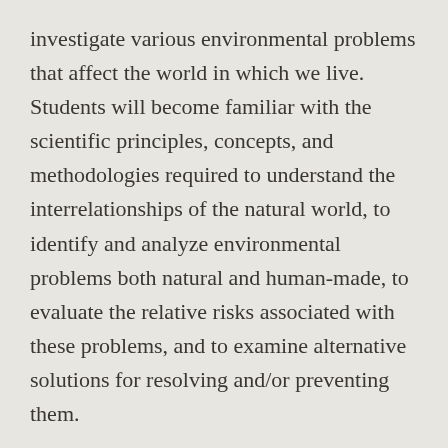investigate various environmental problems that affect the world in which we live. Students will become familiar with the scientific principles, concepts, and methodologies required to understand the interrelationships of the natural world, to identify and analyze environmental problems both natural and human-made, to evaluate the relative risks associated with these problems, and to examine alternative solutions for resolving and/or preventing them.
Students will meet the following objectives in this class: